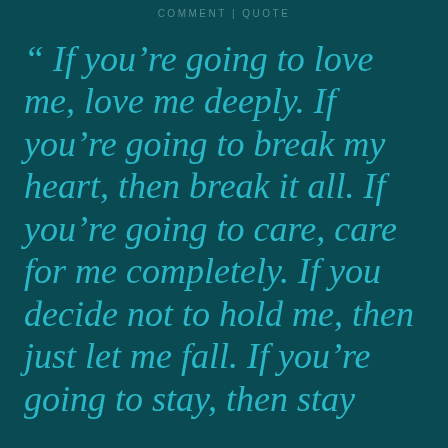COMMENT | QUOTE
“ If you’re going to love me, love me deeply. If you’re going to break my heart, then break it all. If you’re going to care, care for me completely. If you decide not to hold me, then just let me fall. If you’re going to stay, then stay